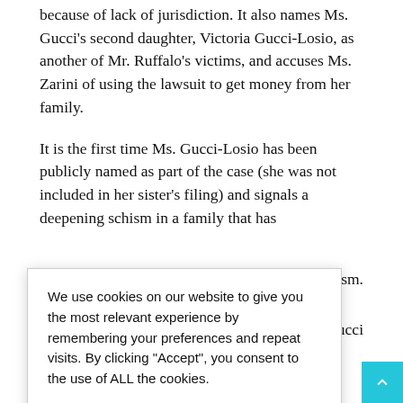because of lack of jurisdiction. It also names Ms. Gucci's second daughter, Victoria Gucci-Losio, as another of Mr. Ruffalo's victims, and accuses Ms. Zarini of using the lawsuit to get money from her family.
It is the first time Ms. Gucci-Losio has been publicly named as part of the case (she was not included in her sister's filing) and signals a deepening schism in a family that has [partially obscured] tagonism.
[partially obscured] th the Gucci [partially obscured] married to [partially obscured] d together in Los [partially obscured] m upon being [partially obscured] had been abusing her since she was 6 years old, and her sister sinc
We use cookies on our website to give you the most relevant experience by remembering your preferences and repeat visits. By clicking "Accept", you consent to the use of ALL the cookies.
Do not sell my personal information.